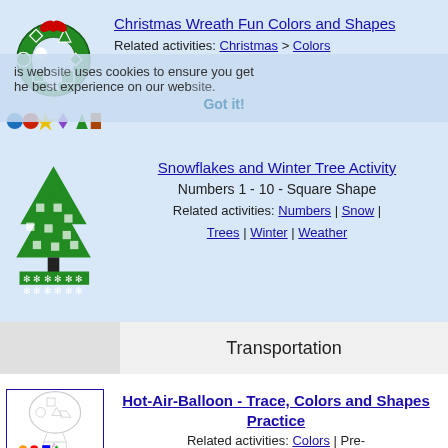[Figure (illustration): Christmas wreath made of green shapes with red bow and colorful ornaments, with a row of colored shapes below]
Christmas Wreath Fun Colors and Shapes
Related activities: Christmas > Colors
This website uses cookies to ensure you get the best experience on our website. Got it!
[Figure (illustration): Green Christmas tree with white square ornaments on a black stand, with white snowflake pattern below]
Snowflakes and Winter Tree Activity
Numbers 1 - 10 - Square Shape
Related activities: Numbers | Snow | Trees | Winter | Weather
Transportation
[Figure (illustration): Hot air balloon sketch with shapes drawn on it, and colored shapes below]
Hot-Air-Balloon - Trace, Colors and Shapes Practice
Related activities: Colors | Pre-